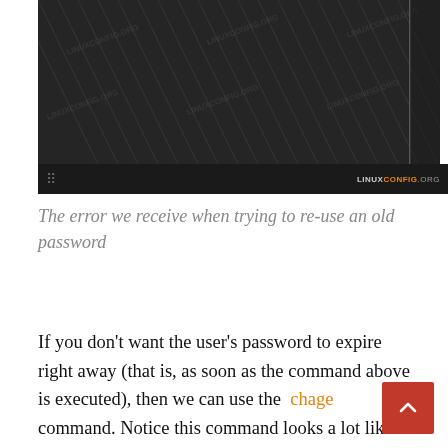[Figure (screenshot): Dark terminal/video screenshot with diagonal lines and watermarks reading LINUXCONFIG.ORG, with a dark toolbar at the bottom showing a grid icon and logo]
The error we receive when trying to re-use an old password
If you don't want the user's password to expire right away (that is, as soon as the command above is executed), then we can use the chage command. Notice this command looks a lot like the word “change,” but be aware it’s not a typo and it really is chage without the “n.”